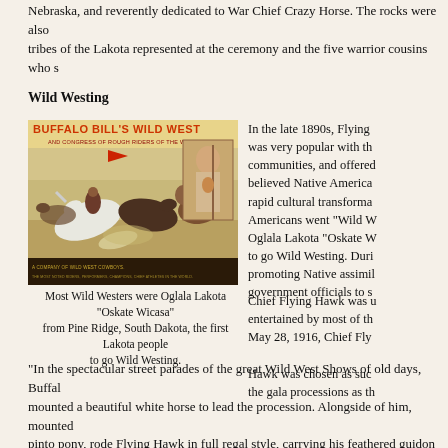Nebraska, and reverently dedicated to War Chief Crazy Horse. The rocks were also tribes of the Lakota represented at the ceremony and the five warrior cousins who s
Wild Westing
[Figure (photo): Buffalo Bill's Wild West and Congress of Rough Riders of the World poster showing riders on horseback]
Most Wild Westers were Oglala Lakota "Oskate Wicasa" from Pine Ridge, South Dakota, the first Lakota people to go Wild Westing.
In the late 1890s, Flying was very popular with the communities, and offered believed Native America rapid cultural transforma Americans went "Wild W Oglala Lakota "Oskate W to go Wild Westing. Duri promoting Native assimil government officials to s
Chief Flying Hawk was u entertained by most of th May 28, 1916, Chief Fly Hawk was chosen as suc the gala processions as th
"In the spectacular street parades of the great Wild West Shows of old days, Buffal mounted a beautiful white horse to lead the procession. Alongside of him, mounted pinto pony, rode Flying Hawk in full regal style, carrying his feathered guidon erect fluttering in the breeze, while his eagle-quill bonnet not only made a fitting crown b dangled below the stirrups of his saddle. Scalp locks decorated his buckskin war-sh